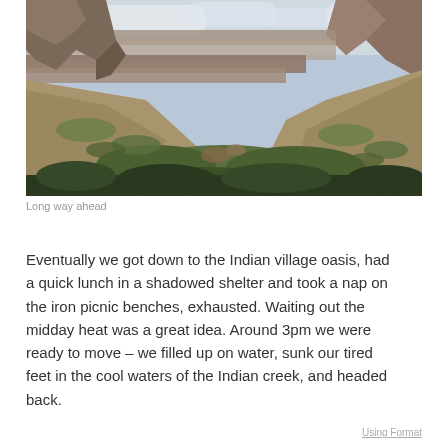[Figure (photo): Panoramic view of a deep canyon valley with layered red rock formations in the background, scrubby green vegetation on the slopes, and a wide open sky with clouds. The image shows a dramatic desert landscape viewed from an elevated vantage point looking down into the canyon.]
Long way ahead
Eventually we got down to the Indian village oasis, had a quick lunch in a shadowed shelter and took a nap on the iron picnic benches, exhausted. Waiting out the midday heat was a great idea. Around 3pm we were ready to move – we filled up on water, sunk our tired feet in the cool waters of the Indian creek, and headed back.
Using Format